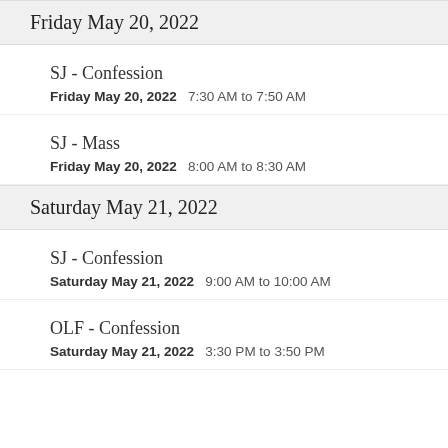Friday May 20, 2022
SJ - Confession
Friday May 20, 2022   7:30 AM to 7:50 AM
SJ - Mass
Friday May 20, 2022   8:00 AM to 8:30 AM
Saturday May 21, 2022
SJ - Confession
Saturday May 21, 2022   9:00 AM to 10:00 AM
OLF - Confession
Saturday May 21, 2022   3:30 PM to 3:50 PM